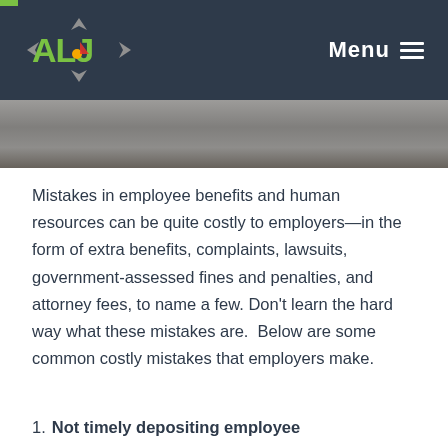ALJ | Menu
[Figure (photo): Photo strip of an office/workplace scene, partially visible below the navigation header]
Mistakes in employee benefits and human resources can be quite costly to employers—in the form of extra benefits, complaints, lawsuits, government-assessed fines and penalties, and attorney fees, to name a few. Don't learn the hard way what these mistakes are.  Below are some common costly mistakes that employers make.
1. Not timely depositing employee